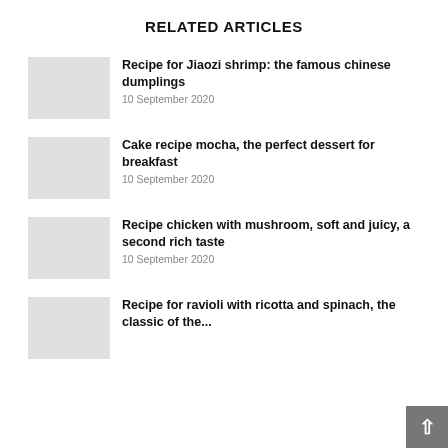RELATED ARTICLES
Recipe for Jiaozi shrimp: the famous chinese dumplings
10 September 2020
Cake recipe mocha, the perfect dessert for breakfast
10 September 2020
Recipe chicken with mushroom, soft and juicy, a second rich taste
10 September 2020
Recipe for ravioli with ricotta and spinach, the classic of the...